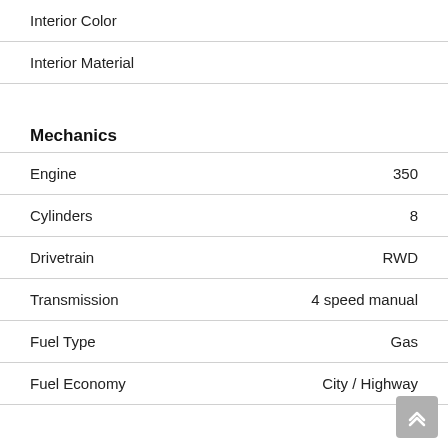Interior Color
Interior Material
Mechanics
| Field | Value |
| --- | --- |
| Engine | 350 |
| Cylinders | 8 |
| Drivetrain | RWD |
| Transmission | 4 speed manual |
| Fuel Type | Gas |
| Fuel Economy | City / Highway |